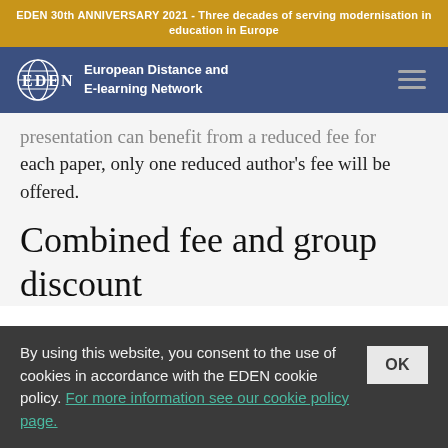EDEN 30th ANNIVERSARY 2021 - Three decades of serving modernisation in education in Europe
[Figure (logo): EDEN logo with globe icon and text: European Distance and E-learning Network on blue navigation bar with hamburger menu icon]
presentation can benefit from a reduced fee for each paper, only one reduced author's fee will be offered.
Combined fee and group discount
By using this website, you consent to the use of cookies in accordance with the EDEN cookie policy. For more information see our cookie policy page.